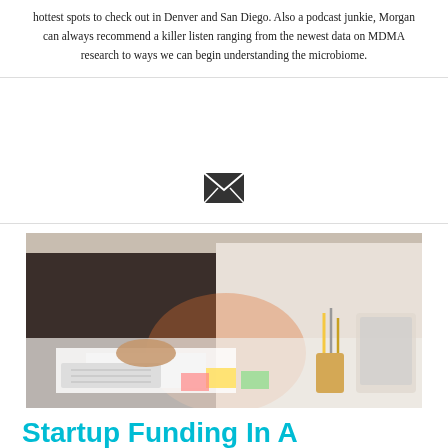hottest spots to check out in Denver and San Diego. Also a podcast junkie, Morgan can always recommend a killer listen ranging from the newest data on MDMA research to ways we can begin understanding the microbiome.
[Figure (other): Email envelope icon]
[Figure (photo): Two people working at a desk with papers, a keyboard, pencils in a holder, and documents scattered on a white table]
Startup Funding In A